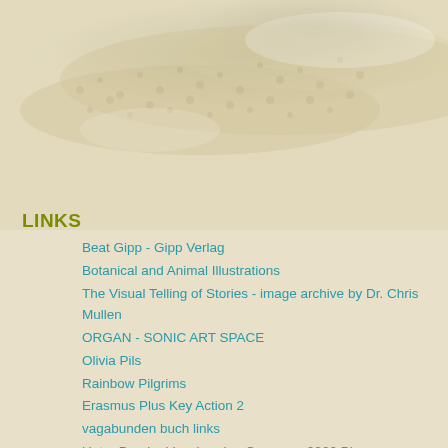[Figure (photo): Background photo of a snake (likely a python or boa) with textured scales, shown in muted yellowish-gray tones occupying the upper portion of the page.]
LINKS
Beat Gipp - Gipp Verlag
Botanical and Animal Illustrations
The Visual Telling of Stories - image archive by Dr. Chris Mullen
ORGAN - SONIC ART SPACE
Olivia Pils
Rainbow Pilgrims
Erasmus Plus Key Action 2
vagabunden buch links
Unter Druck - Vagabunden Congress 2020 Blog
CZENTRIFUGA WAY BACK MACHINE
educational technonlogy clearing house (huge image archive)
Internet Archive Book Images
Vasia Lebaric on Tumblr